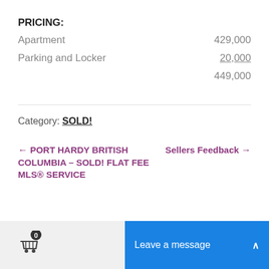PRICING:
|  |  |
| --- | --- |
| Apartment | 429,000 |
| Parking and Locker | 20,000 |
|  | 449,000 |
Category: SOLD!
← PORT HARDY BRITISH COLUMBIA – SOLD! FLAT FEE MLS® SERVICE
Sellers Feedback →
0  Leave a message